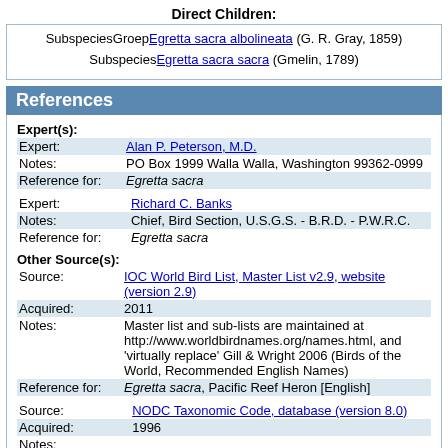Direct Children:
Subspecies Egretta sacra albolineata (G. R. Gray, 1859)
Subspecies Egretta sacra sacra (Gmelin, 1789)
References
Expert(s):
Expert: Alan P. Peterson, M.D.
Notes: PO Box 1999 Walla Walla, Washington 99362-0999
Reference for: Egretta sacra
Expert: Richard C. Banks
Notes: Chief, Bird Section, U.S.G.S. - B.R.D. - P.W.R.C.
Reference for: Egretta sacra
Other Source(s):
Source: IOC World Bird List, Master List v2.9, website (version 2.9)
Acquired: 2011
Notes: Master list and sub-lists are maintained at http://www.worldbirdnames.org/names.html, and 'virtually replace' Gill & Wright 2006 (Birds of the World, Recommended English Names)
Reference for: Egretta sacra, Pacific Reef Heron [English]
Source: NODC Taxonomic Code, database (version 8.0)
Acquired: 1996
Notes:
Reference for: Egretta sacra